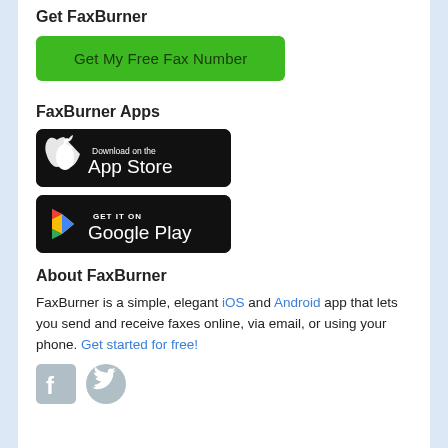Get FaxBurner
[Figure (other): Green button labeled 'Get My Free Fax Number']
FaxBurner Apps
[Figure (other): App Store download badge (black, Apple logo)]
[Figure (other): Google Play download badge (black, Play triangle logo)]
About FaxBurner
FaxBurner is a simple, elegant iOS and Android app that lets you send and receive faxes online, via email, or using your phone. Get started for free!
[Figure (other): Facebook and Twitter social media icons]